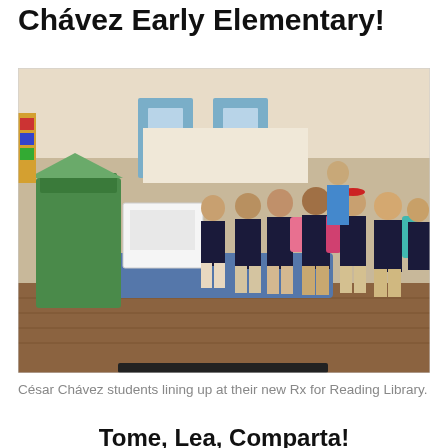Chávez Early Elementary!
[Figure (photo): Elementary school students lining up indoors at their new Rx for Reading Library book kiosk, wearing navy blue uniforms with backpacks, in a school hallway.]
César Chávez students lining up at their new Rx for Reading Library.
Tome, Lea, Comparta!